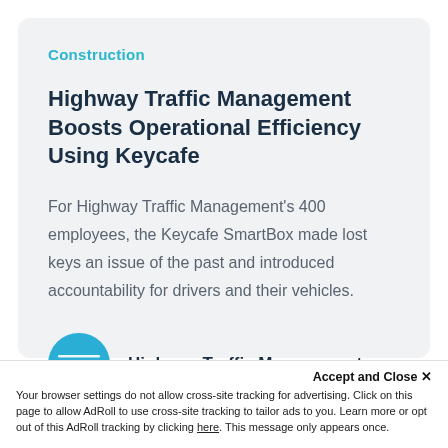Construction
Highway Traffic Management Boosts Operational Efficiency Using Keycafe
For Highway Traffic Management's 400 employees, the Keycafe SmartBox made lost keys an issue of the past and introduced accountability for drivers and their vehicles.
[Figure (logo): HTM circular blue logo with stylized white ATM lettering]
Highway Traffic Management
Accept and Close ×
Your browser settings do not allow cross-site tracking for advertising. Click on this page to allow AdRoll to use cross-site tracking to tailor ads to you. Learn more or opt out of this AdRoll tracking by clicking here. This message only appears once.